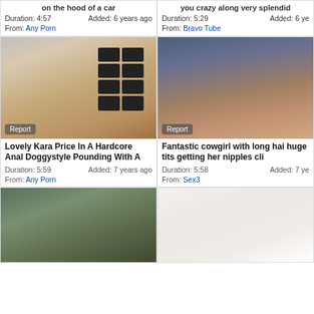[Figure (screenshot): Video thumbnail grid from adult video website showing 6 video cards arranged in 2 columns and 3 rows, each with thumbnail image, title, duration, date added, and source.]
on the hood of a car
Duration: 4:57  Added: 6 years ago
From: Any Porn
you crazy along very splendid
Duration: 5:29  Added: 6 years ago
From: Bravo Tube
Lovely Kara Price In A Hardcore Anal Doggystyle Pounding With A
Duration: 5:59  Added: 7 years ago
From: Any Porn
Fantastic cowgirl with long hair huge tits getting her nipples cli
Duration: 5:58  Added: 7 years ago
From: Sex3